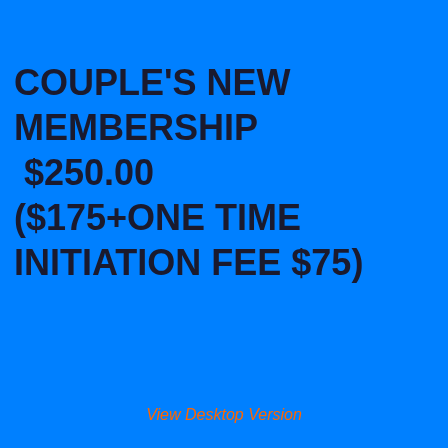COUPLE'S NEW MEMBERSHIP $250.00 ($175+ONE TIME INITIATION FEE $75)
View Desktop Version